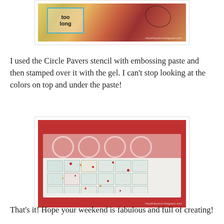[Figure (photo): Craft art journal page showing text 'too long' in decorative frame with mixed media elements, red and yellow background textures, and floral embellishments. Watermark reads inkydinkydom.blogspot.com]
I used the Circle Pavers stencil with embossing paste and then stamped over it with the gel. I can't stop looking at the colors on top and under the paste!
[Figure (photo): Close-up photo of a mixed media art piece showing Circle Pavers stencil pattern with embossing paste, stamped with gel. The piece shows white paste with circular and square patterns, multicolored (red, teal, yellow, orange) paint splattered beneath and over the paste, on a red background border. Watermark reads inkydinkydom.blogspot.com]
That's it! Hope your weekend is fabulous and full of creating!